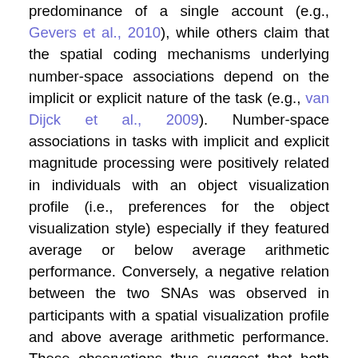predominance of a single account (e.g., Gevers et al., 2010), while others claim that the spatial coding mechanisms underlying number-space associations depend on the implicit or explicit nature of the task (e.g., van Dijck et al., 2009). Number-space associations in tasks with implicit and explicit magnitude processing were positively related in individuals with an object visualization profile (i.e., preferences for the object visualization style) especially if they featured average or below average arithmetic performance. Conversely, a negative relation between the two SNAs was observed in participants with a spatial visualization profile and above average arithmetic performance. These observations thus suggest that both kinds of visualizers rely on a single predominant spatial coding account regardless of the task. However, the nature of the cognitive mechanisms giving rise to number-space associations seems to vary depending on the type of visualizer, considering significantly positive and negative associations between the two SNAs in object- and spatial-